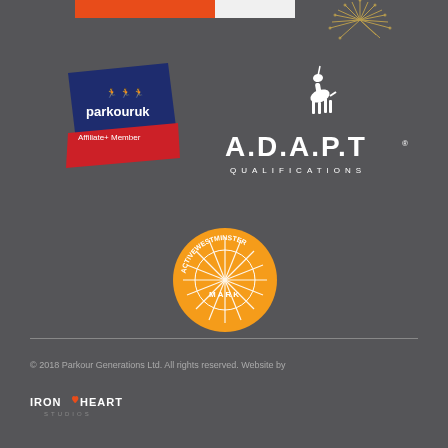[Figure (logo): Partial orange and white logo bar at top of page]
[Figure (logo): Partial gold firework/starburst graphic at top right]
[Figure (logo): Parkour UK Affiliate+ Member badge - blue and red angled shape with white figures and text]
[Figure (logo): A.D.A.P.T Qualifications logo - white antelope silhouette above angular lettering on dark background]
[Figure (logo): Active Westminster Mark - circular orange badge with white starburst and text around edge]
© 2018 Parkour Generations Ltd. All rights reserved. Website by
[Figure (logo): Iron Heart Studios logo - white text on dark background]